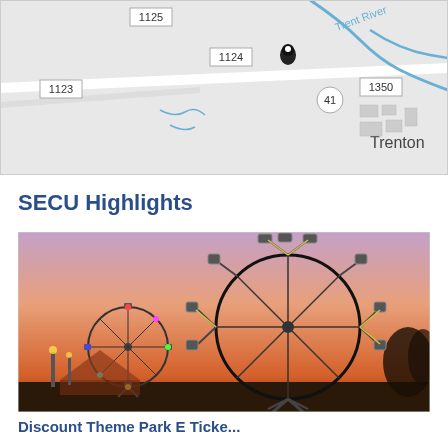[Figure (map): Road map showing area near Trenton with route markers 1123, 1124, 1125, 1350, 41, Trent River label, and a location pin placed near route 1124/41 junction.]
SECU Highlights
[Figure (photo): Carnival/fair scene at dusk showing large Ferris wheels and amusement rides illuminated against a purple-pink sunset sky.]
Discount Theme Park E Ticke...